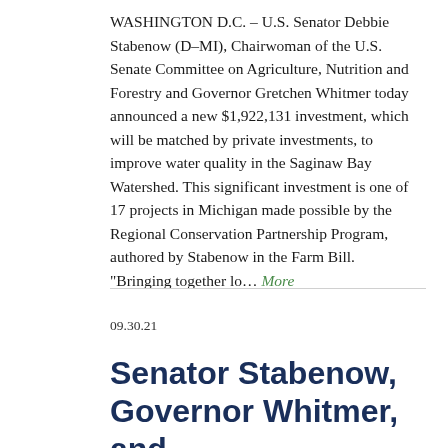WASHINGTON D.C. – U.S. Senator Debbie Stabenow (D–MI), Chairwoman of the U.S. Senate Committee on Agriculture, Nutrition and Forestry and Governor Gretchen Whitmer today announced a new $1,922,131 investment, which will be matched by private investments, to improve water quality in the Saginaw Bay Watershed. This significant investment is one of 17 projects in Michigan made possible by the Regional Conservation Partnership Program, authored by Stabenow in the Farm Bill. "Bringing together lo... More
09.30.21
Senator Stabenow, Governor Whitmer, and